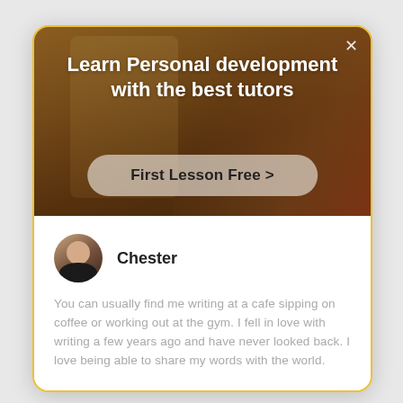[Figure (screenshot): Hero image of a person in a room with warm/orange tones, partially obscured by overlay]
Learn Personal development with the best tutors
First Lesson Free >
Chester
You can usually find me writing at a cafe sipping on coffee or working out at the gym. I fell in love with writing a few years ago and have never looked back. I love being able to share my words with the world.